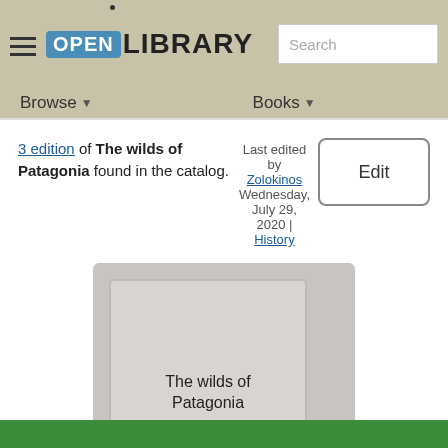Open Library — Browse | Books | Search
3 edition of The wilds of Patagonia found in the catalog.
Last edited by Zolokinos Wednesday, July 29, 2020 | History
Edit
[Figure (illustration): Book cover placeholder showing 'The wilds of Patagonia' by Carl Skottsberg on a grey background]
The wilds of Patagonia
Carl Skottsberg